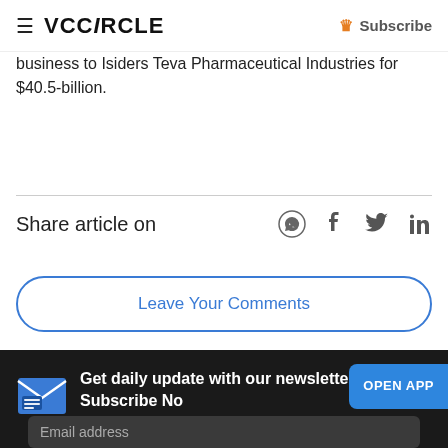≡ VCCIRCLE | Subscribe
business to Isiders Teva Pharmaceutical Industries for $40.5-billion.
Share article on
Leave Your Comments
Get daily update with our newsletter Subscribe No
OPEN APP
Email address